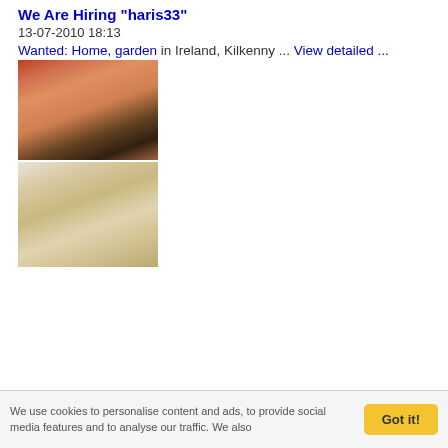We Are Hiring "haris33"
13-07-2010 18:13
Wanted: Home, garden in Ireland, Kilkenny ... View detailed ...
[Figure (photo): Two interior photos of a house: top photo shows an indoor pool with a red-tiled roof; bottom photo shows a living/kitchen area with wooden floors and modern furniture.]
We Buy Houses Nationwide.! We buy houses from home sellers looking to sell for many different reasons. Recent changes in the economy have created the need for more creative real estate solutions.. There will always be a need for the traditional real estate market, but alternative solutions are important as well to keep the real estate market going.
We Are Hiring "rahul33"
18-06-2010 21:32
Wanted: Home, garden in Ireland, Kilkenny ... View detailed ...
[Figure (photo): Partial photo of house interior, showing reddish-orange surfaces.]
We Buy Houses Nationwide! We buy
We use cookies to personalise content and ads, to provide social media features and to analyse our traffic. We also